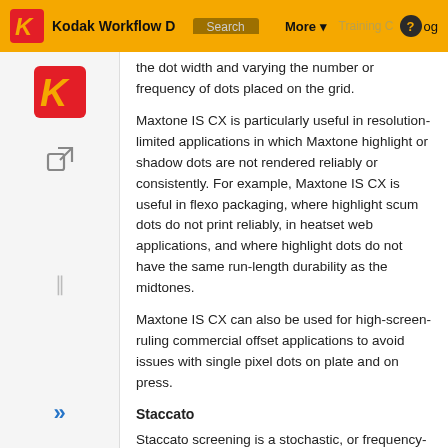Kodak Workflow Documentation   Search   More   Training   Log
the dot width and varying the number or frequency of dots placed on the grid.
Maxtone IS CX is particularly useful in resolution-limited applications in which Maxtone highlight or shadow dots are not rendered reliably or consistently. For example, Maxtone IS CX is useful in flexo packaging, where highlight scum dots do not print reliably, in heatset web applications, and where highlight dots do not have the same run-length durability as the midtones.
Maxtone IS CX can also be used for high-screen-ruling commercial offset applications to avoid issues with single pixel dots on plate and on press.
Staccato
Staccato screening is a stochastic, or frequency-modulated (FM), screening solution